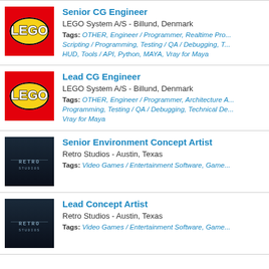Senior CG Engineer - LEGO System A/S - Billund, Denmark - Tags: OTHER, Engineer / Programmer, Realtime Pro..., Scripting / Programming, Testing / QA / Debugging, T..., HUD, Tools / API, Python, MAYA, Vray for Maya
Lead CG Engineer - LEGO System A/S - Billund, Denmark - Tags: OTHER, Engineer / Programmer, Architecture A..., Programming, Testing / QA / Debugging, Technical De..., Vray for Maya
Senior Environment Concept Artist - Retro Studios - Austin, Texas - Tags: Video Games / Entertainment Software, Game...
Lead Concept Artist - Retro Studios - Austin, Texas - Tags: Video Games / Entertainment Software, Game...